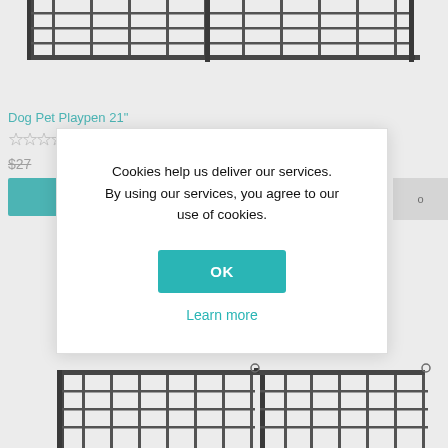[Figure (photo): Top portion of a metal wire dog/pet playpen fence panel visible at the top of the page]
Dog Pet Playpen 21"
[Figure (other): Star rating (empty/hollow stars)]
$27
[Figure (screenshot): Cookie consent dialog popup with text: Cookies help us deliver our services. By using our services, you agree to our use of cookies. With OK button and Learn more link.]
Cookies help us deliver our services. By using our services, you agree to our use of cookies.
OK
Learn more
[Figure (photo): Bottom portion of a metal wire dog/pet playpen visible at bottom of page]